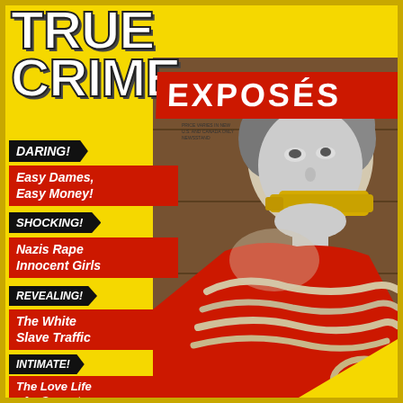TRUE CRIME
EXPOSÉS
DARING!
Easy Dames, Easy Money!
SHOCKING!
Nazis Rape Innocent Girls
REVEALING!
The White Slave Traffic
INTIMATE!
The Love Life of a Gangster
[Figure (photo): Black and white photo of a bound woman with yellow cloth around her mouth, wearing a red dress, tied with rope, looking upward in distress]